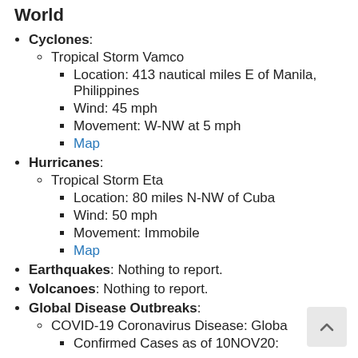World
Cyclones:
Tropical Storm Vamco
Location: 413 nautical miles E of Manila, Philippines
Wind: 45 mph
Movement: W-NW at 5 mph
Map
Hurricanes:
Tropical Storm Eta
Location: 80 miles N-NW of Cuba
Wind: 50 mph
Movement: Immobile
Map
Earthquakes: Nothing to report.
Volcanoes: Nothing to report.
Global Disease Outbreaks:
COVID-19 Coronavirus Disease: Globa
Confirmed Cases as of 10NOV20: